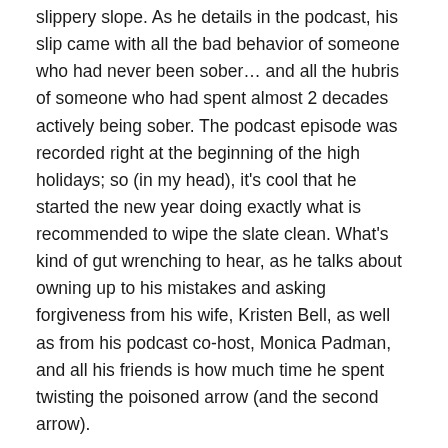slippery slope. As he details in the podcast, his slip came with all the bad behavior of someone who had never been sober… and all the hubris of someone who had spent almost 2 decades actively being sober. The podcast episode was recorded right at the beginning of the high holidays; so (in my head), it's cool that he started the new year doing exactly what is recommended to wipe the slate clean. What's kind of gut wrenching to hear, as he talks about owning up to his mistakes and asking forgiveness from his wife, Kristen Bell, as well as from his podcast co-host, Monica Padman, and all his friends is how much time he spent twisting the poisoned arrow (and the second arrow).
Remember, in Buddhism there are two parables about arrows. In the case of the poisoned arrow, a man is shot with a poisoned arrow while surrounded by people who